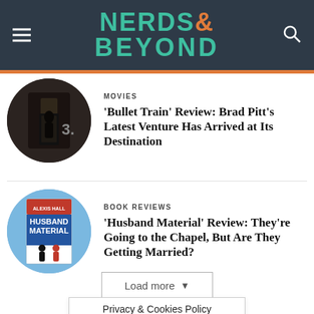NERDS& BEYOND
MOVIES
'Bullet Train' Review: Brad Pitt's Latest Venture Has Arrived at Its Destination
[Figure (photo): Circular thumbnail of a darkened train car scene with a silhouetted figure]
BOOK REVIEWS
'Husband Material' Review: They're Going to the Chapel, But Are They Getting Married?
[Figure (photo): Circular thumbnail of the book cover 'Husband Material' by Alexis Hall with red and blue design]
Load more
Privacy & Cookies Policy